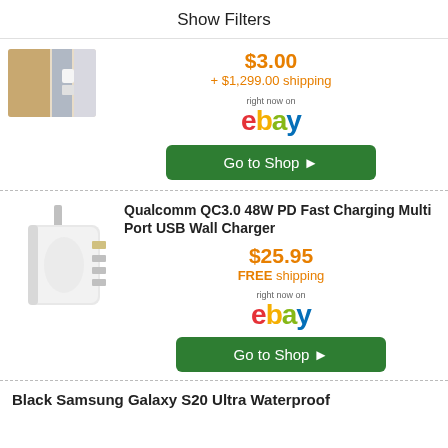Show Filters
[Figure (photo): Partial product image of a room/furniture item cropped at top]
$3.00
+ $1,299.00 shipping
[Figure (logo): eBay logo with 'right now on' text above]
Go to Shop ▶
Qualcomm QC3.0 48W PD Fast Charging Multi Port USB Wall Charger
[Figure (photo): White multi-port USB wall charger with plug]
$25.95
FREE shipping
[Figure (logo): eBay logo with 'right now on' text above]
Go to Shop ▶
Black Samsung Galaxy S20 Ultra Waterproof